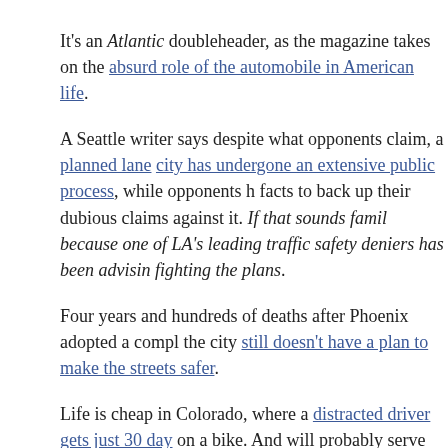It's an Atlantic doubleheader, as the magazine takes on the absurd role of the automobile in American life.
A Seattle writer says despite what opponents claim, a planned lane change in the city has undergone an extensive public process, while opponents have no facts to back up their dubious claims against it. If that sounds familiar, it's because one of LA's leading traffic safety deniers has been advising them on fighting the plans.
Four years and hundreds of deaths after Phoenix adopted a complete streets plan, the city still doesn't have a plan to make the streets safer.
Life is cheap in Colorado, where a distracted driver gets just 30 days for killing someone on a bike. And will probably serve that on work release.
J. Partick Lynch forwards news of a Detroit ATV rider who was killed after being tased by police and crashed as a result. Which is the same thing they'd have if they do it to someone on a bicycle.
A 17-year old Florida bike rider was killed when he was stuck by a car while trying to cross the street after getting off a bus.